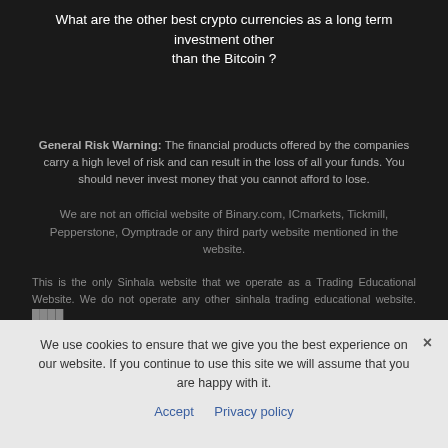What are the other best crypto currencies as a long term investment other than the Bitcoin ?
General Risk Warning: The financial products offered by the companies carry a high level of risk and can result in the loss of all your funds. You should never invest money that you cannot afford to lose.
We are not an official website of Binary.com, ICmarkets, Tickmill, Pepperstone, Oymptrade or any third party website mentioned in the website.
This is the only Sinhala website that we operate as a Trading Educational Website. We do not operate any other sinhala trading educational website. ████
We use cookies to ensure that we give you the best experience on our website. If you continue to use this site we will assume that you are happy with it.
Accept   Privacy policy